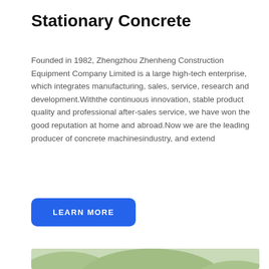Stationary Concrete
Founded in 1982, Zhengzhou Zhenheng Construction Equipment Company Limited is a large high-tech enterprise, which integrates manufacturing, sales, service, research and development.Withthe continuous innovation, stable product quality and professional after-sales service, we have won the good reputation at home and abroad.Now we are the leading producer of concrete machinesindustry, and extend
LEARN MORE
[Figure (photo): Aerial or ground-level photo of a large stationary concrete batching plant with blue machinery, conveyors, silos, and a small building in a hilly, rural landscape. A chat bubble overlay reads: Hey, we are live 24/7. How may I help you?]